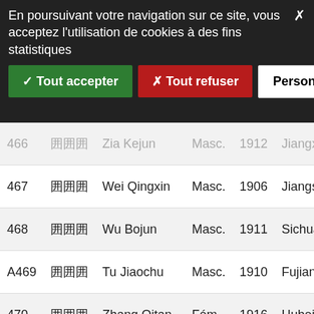En poursuivant votre navigation sur ce site, vous acceptez l'utilisation de cookies à des fins statistiques
✓ Tout accepter | ✗ Tout refuser | Personnaliser
| # | Chinese | Name | Gender | Year | Province | Field |
| --- | --- | --- | --- | --- | --- | --- |
| 466 | ??? | Zia Kejun | Masc. | 1912 | Jiangxi | D... |
| 467 | ??? | Wei Qingxin | Masc. | 1906 | Jiangsu | Le |
| 468 | ??? | Wu Bojun | Masc. | 1911 | Sichuan | Scie |
| A469 | ??? | Tu Jiaochu | Masc. | 1910 | Fujian | D |
| 470 | ??? | Zhang Qitan | Fém. | 1916 | Hubei | Scie |
| 471 | ??? | Chang Linding | Masc. | 1902 | Henan | Scie |
| 472 | ??? | Yang Jingmei | Masc. | 1910 | Guangdong | Le |